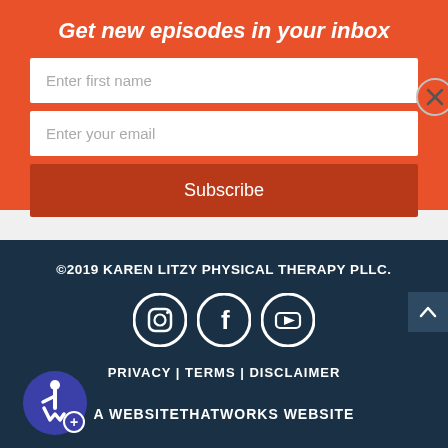Get new episodes in your inbox
Enter first name
Enter your email
Subscribe
©2019 KAREN LITZY PHYSICAL THERAPY PLLC.
[Figure (infographic): Social media icons: Instagram, Facebook, YouTube circles on dark background]
PRIVACY | TERMS | DISCLAIMER
[Figure (logo): Accessibility icon - blue circle with wheelchair symbol]
A WEBSITETHATWORKS WEBSITE